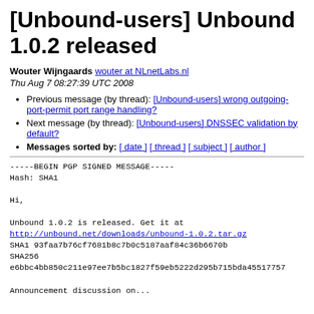[Unbound-users] Unbound 1.0.2 released
Wouter Wijngaards wouter at NLnetLabs.nl
Thu Aug 7 08:27:39 UTC 2008
Previous message (by thread): [Unbound-users] wrong outgoing-port-permit port range handling?
Next message (by thread): [Unbound-users] DNSSEC validation by default?
Messages sorted by: [ date ] [ thread ] [ subject ] [ author ]
-----BEGIN PGP SIGNED MESSAGE-----
Hash: SHA1

Hi,

Unbound 1.0.2 is released. Get it at
http://unbound.net/downloads/unbound-1.0.2.tar.gz
SHA1 93faa7b76cf7681b8c7b0c5187aaf84c36b6670b
SHA256
e6bbc4bb850c211e97ee7b5bc1827f59eb5222d295b715bda455177575...

Announcement discussion on...